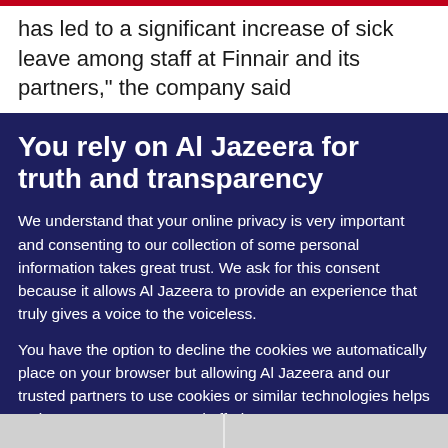has led to a significant increase of sick leave among staff at Finnair and its partners,” the company said
You rely on Al Jazeera for truth and transparency
We understand that your online privacy is very important and consenting to our collection of some personal information takes great trust. We ask for this consent because it allows Al Jazeera to provide an experience that truly gives a voice to the voiceless.
You have the option to decline the cookies we automatically place on your browser but allowing Al Jazeera and our trusted partners to use cookies or similar technologies helps us improve our content and offerings to you. You can change your privacy preferences at any time by selecting ‘Cookie preferences’ at the bottom of your screen. To learn more, please view our Cookie Policy.